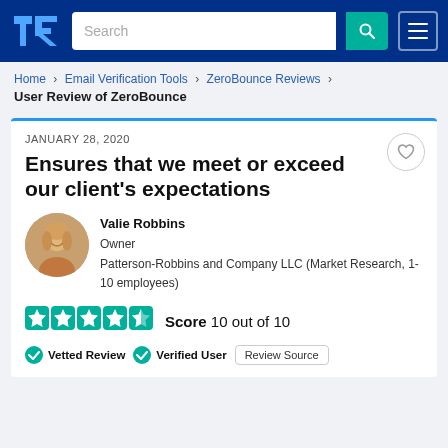TrustRadius navigation bar with logo, search, and menu
Home > Email Verification Tools > ZeroBounce Reviews > User Review of ZeroBounce
JANUARY 28, 2020
Ensures that we meet or exceed our client's expectations
Valie Robbins
Owner
Patterson-Robbins and Company LLC (Market Research, 1-10 employees)
Score 10 out of 10
Vetted Review   Verified User   Review Source